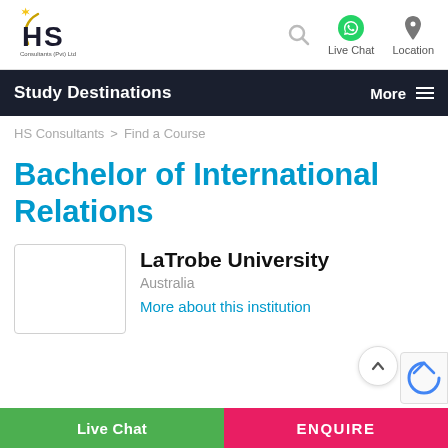[Figure (logo): HS Consultants (Pvt) Ltd logo with yellow star and arc, bold HS letters]
Live Chat  Location
Study Destinations   More
HS Consultants > Find a Course
Bachelor of International Relations
LaTrobe University
Australia
More about this institution
Live Chat   ENQUIRE